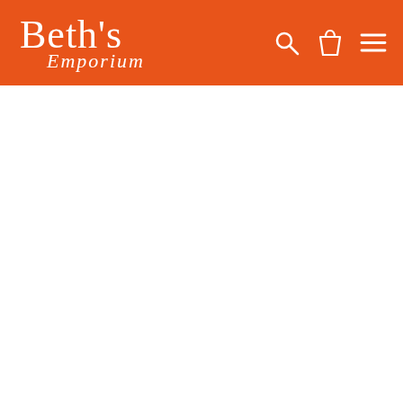[Figure (logo): Beth's Emporium website header with orange background. Logo shows 'Beth's' in cursive script and 'Emporium' in italic serif below it. Right side has search, shopping bag, and hamburger menu icons in white.]